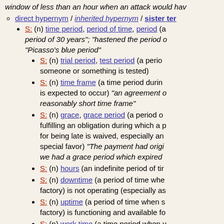window of less than an hour when an attack would hav
direct hypernym / inherited hypernym / sister ter
S: (n) time period, period of time, period (a... period of 30 years; hastened the period o... Picasso's blue period
S: (n) trial period, test period (a period... someone or something is tested)
S: (n) time frame (a time period during... is expected to occur) "an agreement o... reasonably short time frame"
S: (n) grace, grace period (a period o... fulfilling an obligation during which a p... for being late is waived, especially an... special favor) "The payment had origi... we had a grace period which expired
S: (n) hours (an indefinite period of tir
S: (n) downtime (a period of time whe... factory) is not operating (especially as
S: (n) uptime (a period of time when s... factory) is functioning and available fo
S: (n) work time (a time period when y
S: (n) time off (a time period when yo... requested time off to attend his grand
S: (n) bout (a period of illness) "a bou... depression"